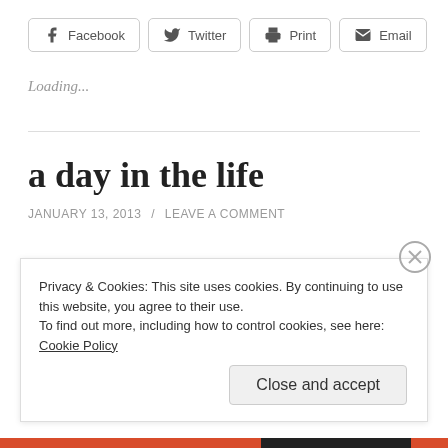Facebook | Twitter | Print | Email
Loading...
a day in the life
JANUARY 13, 2013 / LEAVE A COMMENT
Privacy & Cookies: This site uses cookies. By continuing to use this website, you agree to their use. To find out more, including how to control cookies, see here: Cookie Policy
Close and accept